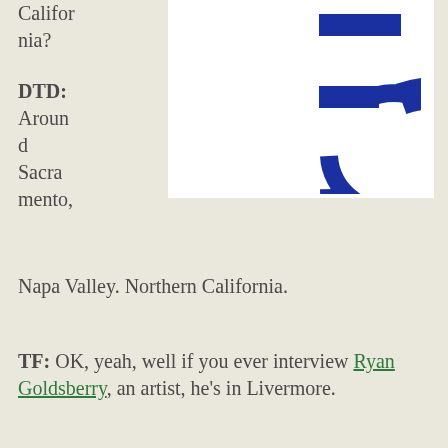California?
[Figure (logo): Blue circular logo with stylized letter C design on white background]
DTD: Around Sacramento, Napa Valley. Northern California.
TF: OK, yeah, well if you ever interview Ryan Goldsberry, an artist, he's in Livermore.
DTD: Oh yeah, Livermore is close. And I, from computer connections and things like that, I know a lot of people working in Livermore. He's at